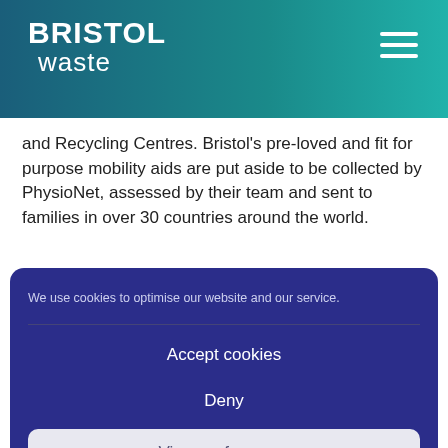BRISTOL waste
and Recycling Centres. Bristol's pre-loved and fit for purpose mobility aids are put aside to be collected by PhysioNet, assessed by their team and sent to families in over 30 countries around the world.
We use cookies to optimise our website and our service.
Accept cookies
Deny
View preferences
Cookie policy  Privacy notice